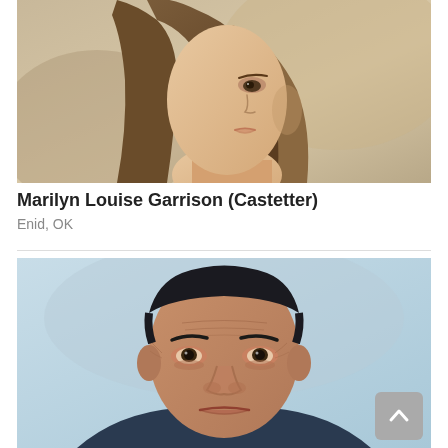[Figure (photo): Portrait photo of a young woman with long brown hair, facing slightly to the right, against a warm beige background.]
Marilyn Louise Garrison (Castetter)
Enid, OK
[Figure (photo): Portrait photo of an older man with dark hair and prominent facial wrinkles, facing forward, against a light blue background.]